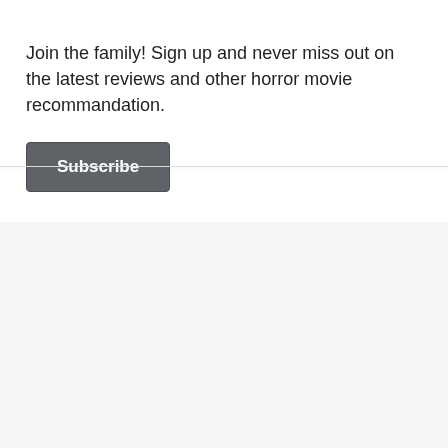×
Join the family! Sign up and never miss out on the latest reviews and other horror movie recommandation.
Subscribe